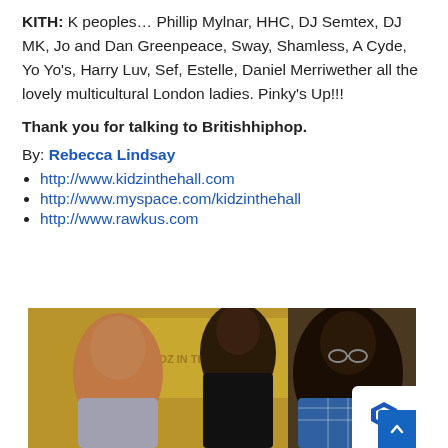KITH: K peoples… Phillip Mylnar, HHC, DJ Semtex, DJ MK, Jo and Dan Greenpeace, Sway, Shamless, A Cyde, Yo Yo's, Harry Luv, Sef, Estelle, Daniel Merriwether all the lovely multicultural London ladies. Pinky's Up!!!
Thank you for talking to Britishhiphop.
By: Rebecca Lindsay
http://www.kidzinthehall.com
http://www.myspace.com/kidzinthehall
http://www.rawkus.com
[Figure (photo): Photo of three people seated, likely Kidz in the Hall members, with graffiti/mural background in yellow and blue tones.]